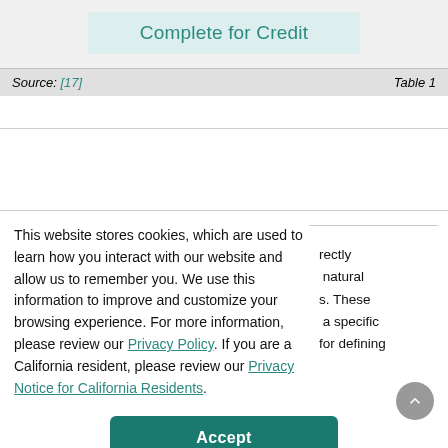Complete for Credit
This website stores cookies, which are used to learn how you interact with our website and allow us to remember you. We use this information to improve and customize your browsing experience. For more information, please review our Privacy Policy. If you are a California resident, please review our Privacy Notice for California Residents.
rectly natural s. These a specific for defining